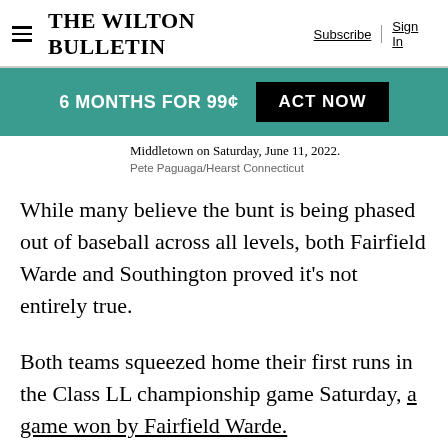The Wilton Bulletin | Subscribe | Sign In
6 MONTHS FOR 99¢  ACT NOW
Middletown on Saturday, June 11, 2022.
Pete Paguaga/Hearst Connecticut
While many believe the bunt is being phased out of baseball across all levels, both Fairfield Warde and Southington proved it's not entirely true.
Both teams squeezed home their first runs in the Class LL championship game Saturday, a game won by Fairfield Warde.